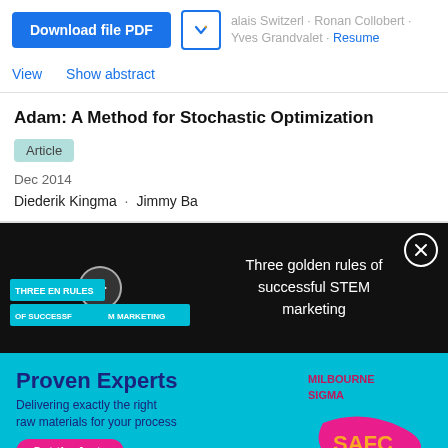Valais Switzerl · Ronan Collobert · Yves Grandvalet · Resume
View   Show abstract
Adam: A Method for Stochastic Optimization
Article
Dec 2014
Diederik Kingma · Jimmy Ba
[Figure (screenshot): Video overlay with dark background showing 'Three golden rules of successful STEM marketing' with a play button thumbnail on the left.]
[Figure (screenshot): Advertisement banner for 'Proven Experts' - Milbourne Sigma, teal background with text 'Delivering exactly the right raw materials for your process', Get the facts button, and SAFC logo.]